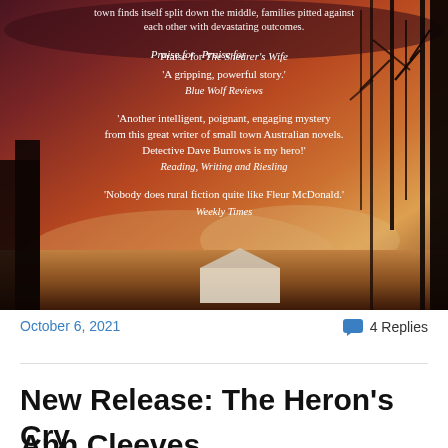[Figure (photo): Book cover image of a rural Australian sunset scene with dramatic red-orange sky and silhouetted trees, featuring praise quotes for The Shearer's Wife by Fleur McDonald]
town finds itself split down the middle, families pitted against each other with devastating outcomes.
Praise for The Shearer's Wife
'A gripping, powerful story.'
Blue Wolf Reviews
'Another intelligent, poignant, engaging mystery from this great writer of small town Australian novels. Detective Dave Burrows is my hero!'
Reading, Writing and Riesling
'Nobody does rural fiction quite like Fleur McDonald.'
Weekly Times
October 6, 2021
4 Replies
New Release: The Heron's Cry